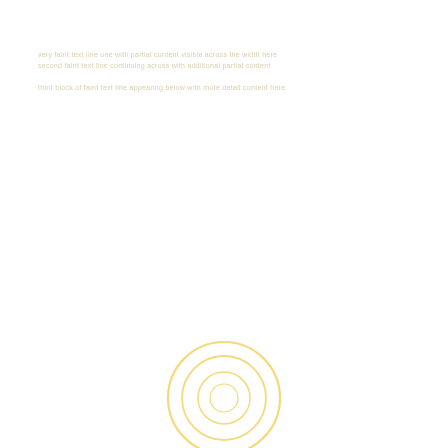very light faded text lines at top of page (partially legible header/body text)
[Figure (engineering-diagram): Concentric circles diagram: three rings (outer, middle, inner) drawn in light golden/yellow color, centered slightly right of center on the page, resembling a target or O-ring cross-section schematic]